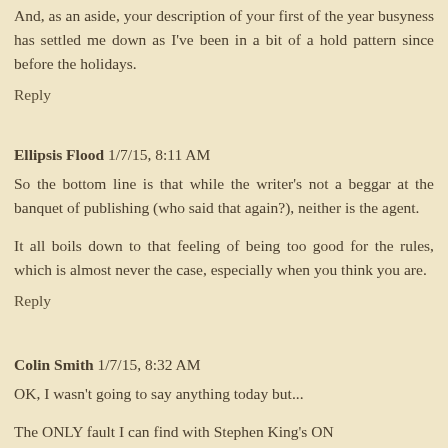And, as an aside, your description of your first of the year busyness has settled me down as I've been in a bit of a hold pattern since before the holidays.
Reply
Ellipsis Flood  1/7/15, 8:11 AM
So the bottom line is that while the writer's not a beggar at the banquet of publishing (who said that again?), neither is the agent.
It all boils down to that feeling of being too good for the rules, which is almost never the case, especially when you think you are.
Reply
Colin Smith  1/7/15, 8:32 AM
OK, I wasn't going to say anything today but...
The ONLY fault I can find with Stephen King's ON